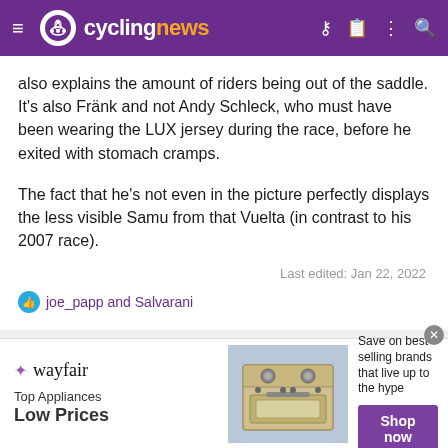cyclingnews
also explains the amount of riders being out of the saddle. It's also Fränk and not Andy Schleck, who must have been wearing the LUX jersey during the race, before he exited with stomach cramps.
The fact that he's not even in the picture perfectly displays the less visible Samu from that Vuelta (in contrast to his 2007 race).
Last edited: Jan 22, 2022
joe_papp and Salvarani
[Figure (infographic): Wayfair advertisement banner: Top Appliances Low Prices, Save on best selling brands that live up to the hype, Shop now button, image of a stove/range appliance]